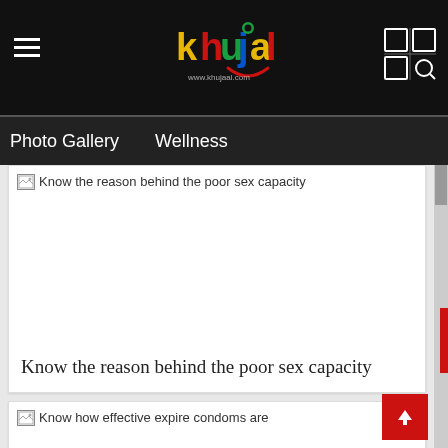[Figure (screenshot): Khujeal website logo with colorful text and smiley face graphic]
Photo Gallery   Wellness
[Figure (screenshot): Broken image placeholder for article: Know the reason behind the poor sex capacity]
Know the reason behind the poor sex capacity
[Figure (screenshot): Broken image placeholder for article: Know how effective expire condoms are]
Know how effective expire condoms are